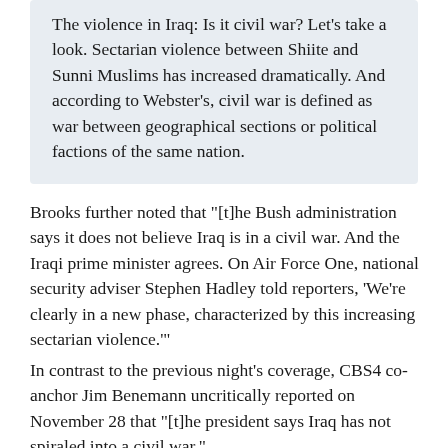The violence in Iraq: Is it civil war? Let's take a look. Sectarian violence between Shiite and Sunni Muslims has increased dramatically. And according to Webster's, civil war is defined as war between geographical sections or political factions of the same nation.
Brooks further noted that "[t]he Bush administration says it does not believe Iraq is in a civil war. And the Iraqi prime minister agrees. On Air Force One, national security adviser Stephen Hadley told reporters, 'We're clearly in a new phase, characterized by this increasing sectarian violence.'"
In contrast to the previous night's coverage, CBS4 co-anchor Jim Benemann uncritically reported on November 28 that "[t]he president says Iraq has not spiraled into a civil war."